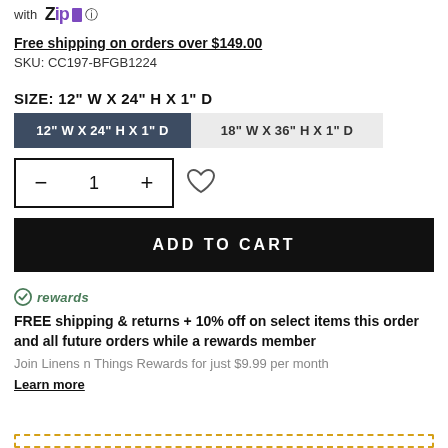with Zip
Free shipping on orders over $149.00
SKU: CC197-BFGB1224
SIZE: 12" W X 24" H X 1" D
12" W X 24" H X 1" D | 18" W X 36" H X 1" D
Quantity: 1, Add to wishlist
ADD TO CART
rewards
FREE shipping & returns + 10% off on select items this order and all future orders while a rewards member
Join Linens n Things Rewards for just $9.99 per month
Learn more